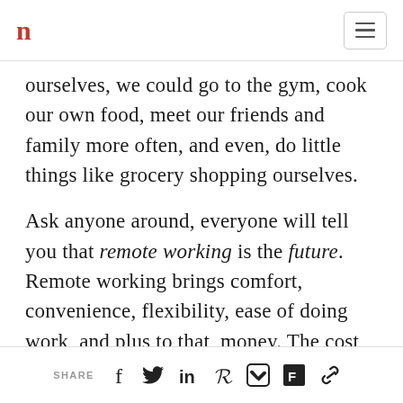n
ourselves, we could go to the gym, cook our own food, meet our friends and family more often, and even, do little things like grocery shopping ourselves.
Ask anyone around, everyone will tell you that remote working is the future. Remote working brings comfort, convenience, flexibility, ease of doing work, and plus to that, money. The cost structures for the businesses also get redefined, and allocation of resources surfaces
SHARE